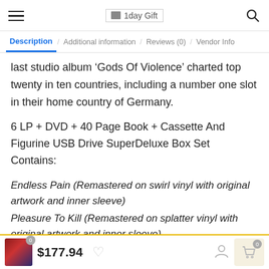1day Gift
Description | Additional information | Reviews (0) | Vendor Info
last studio album ‘Gods Of Violence’ charted top twenty in ten countries, including a number one slot in their home country of Germany.
6 LP + DVD + 40 Page Book + Cassette And Figurine USB Drive SuperDeluxe Box Set Contains:
Endless Pain (Remastered on swirl vinyl with original artwork and inner sleeve)
Pleasure To Kill (Remastered on splatter vinyl with original artwork and inner sleeve)
$177.94